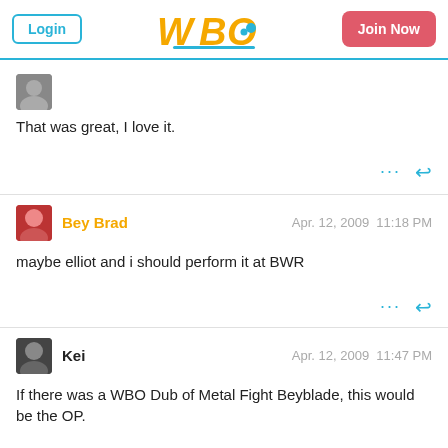WBO website header with Login and Join Now buttons
That was great, I love it.
Bey Brad  Apr. 12, 2009  11:18 PM
maybe elliot and i should perform it at BWR
Kei  Apr. 12, 2009  11:47 PM
If there was a WBO Dub of Metal Fight Beyblade, this would be the OP.